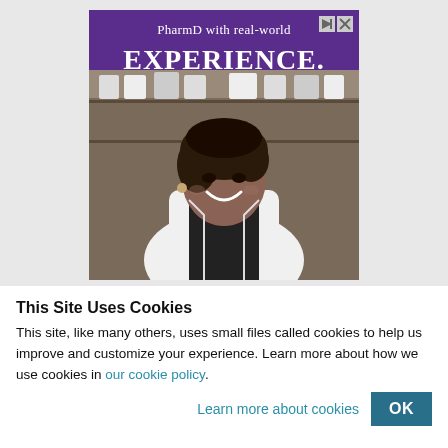[Figure (photo): Advertisement for PharmD program showing a smiling woman in a white lab coat in a pharmacy setting with shelves of medicine bottles. Purple background with text 'PharmD with real-world EXPERIENCE.' and orange bracket design elements.]
This Site Uses Cookies
This site, like many others, uses small files called cookies to help us improve and customize your experience. Learn more about how we use cookies in our cookie policy.
Learn more about cookies
OK